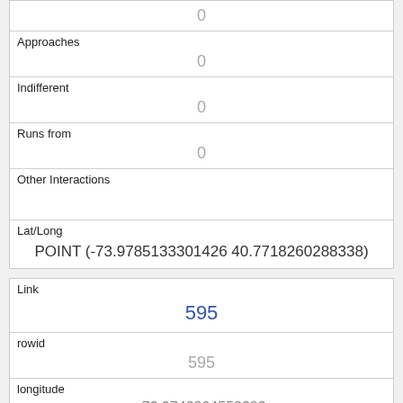|  | 0 |
| Approaches | 0 |
| Indifferent | 0 |
| Runs from | 0 |
| Other Interactions |  |
| Lat/Long | POINT (-73.9785133301426 40.7718260288338) |
| Link | 595 |
| rowid | 595 |
| longitude | -73.9742804552383 |
| latitude | 40.7707167671865 |